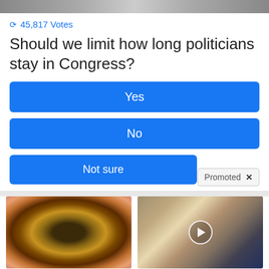[Figure (photo): Cropped photo at top of page, showing partial view of a person]
45,817 Votes
Should we limit how long politicians stay in Congress?
Yes
No
Not sure
Promoted X
[Figure (photo): Close-up photo of a human eye with detailed iris]
How Your Body Warns You That Dementia Is Forming
46,407
[Figure (photo): Photo of two people, appears to be Melania and Donald Trump, with a video play button overlay]
Democrats Want This Video Destroyed — Watch Now Before It's Banned
242,061